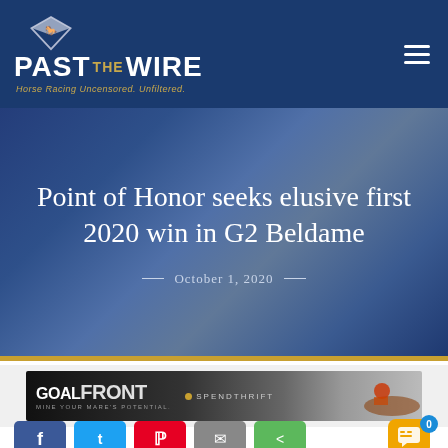PAST THE WIRE — Horse Racing Uncensored. Unfiltered.
Point of Honor seeks elusive first 2020 win in G2 Beldame
October 1, 2020
[Figure (photo): GOALFRONT advertisement banner for Spendthrift farm, showing a horse and jockey racing. Text: GOALFRONT — MINE YOUR MARE'S POTENTIAL. SPENDTHRIFT]
Social share buttons: Facebook, Twitter, Pinterest, Email, Share. Live chat widget with badge showing 0.